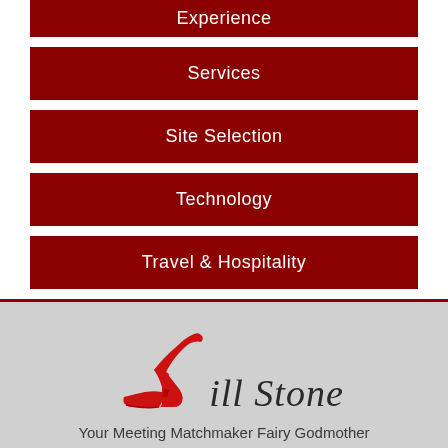Experience
Services
Site Selection
Technology
Travel & Hospitality
[Figure (logo): Jill Stone brand logo with red high heel shoe and cursive text 'Jill Stone']
Your Meeting Matchmaker Fairy Godmother